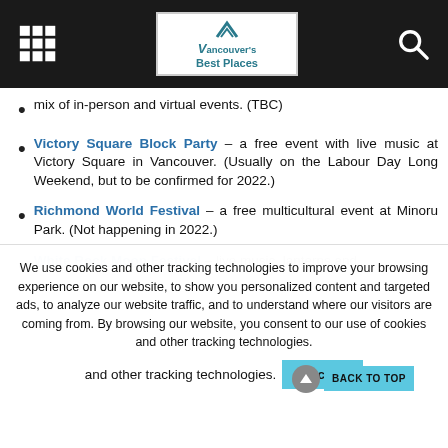Vancouver's Best Places (navigation header)
mix of in-person and virtual events. (TBC)
Victory Square Block Party – a free event with live music at Victory Square in Vancouver. (Usually on the Labour Day Long Weekend, but to be confirmed for 2022.)
Richmond World Festival – a free multicultural event at Minoru Park. (Not happening in 2022.)
White Rock Moon Festival – live music, lanterns and
We use cookies and other tracking technologies to improve your browsing experience on our website, to show you personalized content and targeted ads, to analyze our website traffic, and to understand where our visitors are coming from. By browsing our website, you consent to our use of cookies and other tracking technologies.